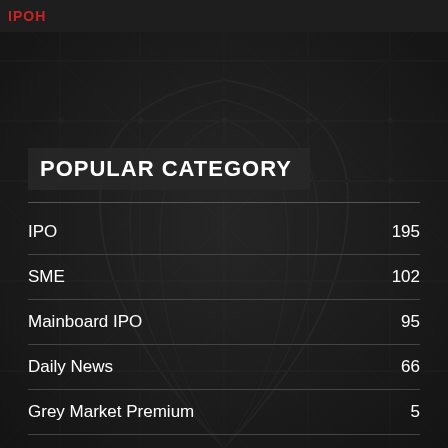IPOH
[Figure (illustration): Dark architectural background with ornate lattice/arch ironwork pattern in low contrast dark tones]
POPULAR CATEGORY
IPO  195
SME  102
Mainboard IPO  95
Daily News  66
Grey Market Premium  5
IPO News  3
Holiday Calendar  2